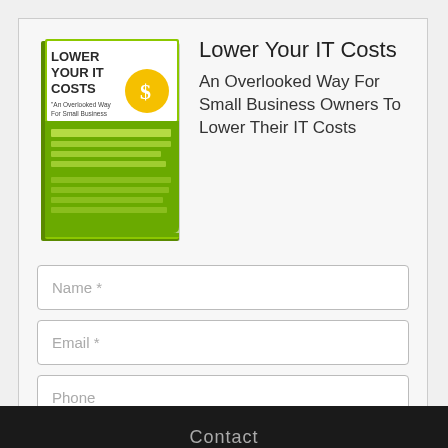[Figure (illustration): Book cover for 'Lower Your IT Costs: An Overlooked Way For Small Business Owners To Lower Their IT Costs' with green and yellow design]
Lower Your IT Costs
An Overlooked Way For Small Business Owners To Lower Their IT Costs
Name *
Email *
Phone
Company
DOWNLOAD NOW
Contact